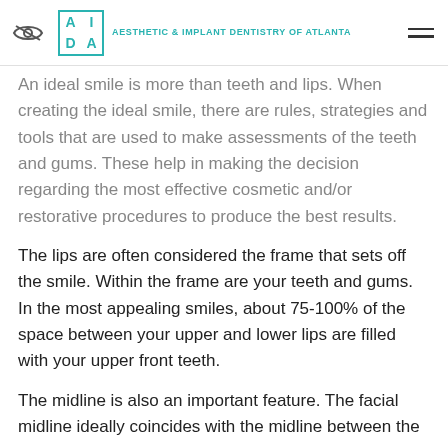Aesthetic & Implant Dentistry of Atlanta
An ideal smile is more than teeth and lips. When creating the ideal smile, there are rules, strategies and tools that are used to make assessments of the teeth and gums. These help in making the decision regarding the most effective cosmetic and/or restorative procedures to produce the best results.
The lips are often considered the frame that sets off the smile. Within the frame are your teeth and gums. In the most appealing smiles, about 75-100% of the space between your upper and lower lips are filled with your upper front teeth.
The midline is also an important feature. The facial midline ideally coincides with the midline between the central incisors. Your dentist determines the location...